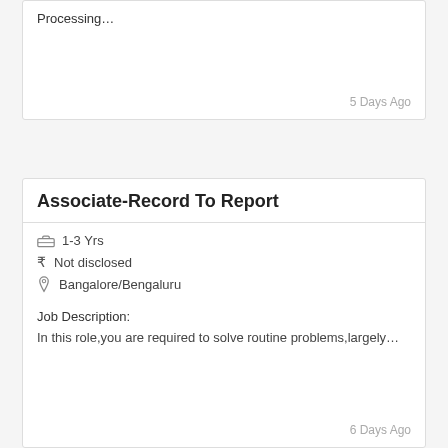Processing…
5 Days Ago
Associate-Record To Report
1-3 Yrs
Not disclosed
Bangalore/Bengaluru
Job Description:
In this role,you are required to solve routine problems,largely…
6 Days Ago